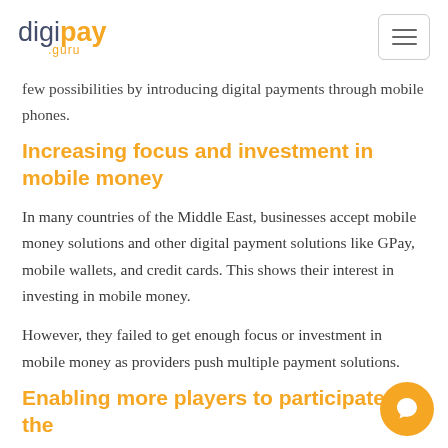digipay.guru
few possibilities by introducing digital payments through mobile phones.
Increasing focus and investment in mobile money
In many countries of the Middle East, businesses accept mobile money solutions and other digital payment solutions like GPay, mobile wallets, and credit cards. This shows their interest in investing in mobile money.
However, they failed to get enough focus or investment in mobile money as providers push multiple payment solutions.
Enabling more players to participate in the